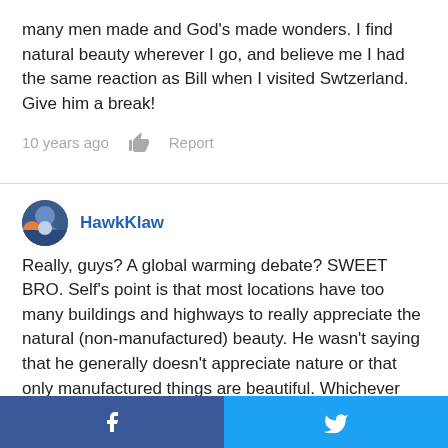many men made and God's made wonders. I find natural beauty wherever I go, and believe me I had the same reaction as Bill when I visited Swtzerland. Give him a break!
10 years ago   Report
HawkKlaw
Really, guys? A global warming debate? SWEET BRO. Self's point is that most locations have too many buildings and highways to really appreciate the natural (non-manufactured) beauty. He wasn't saying that he generally doesn't appreciate nature or that only manufactured things are beautiful. Whichever one of you drew that conclusion has your head way too far up your own... In fact, since he went out of his way to mention how beautiful it was, it appears that he was